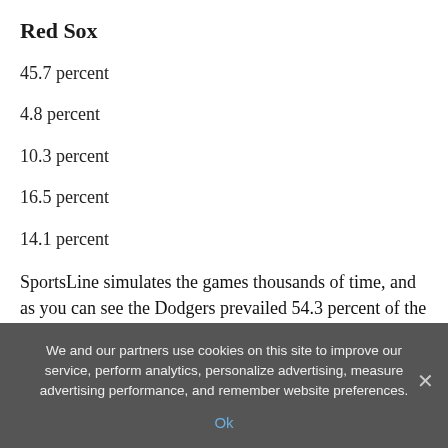Red Sox
45.7 percent
4.8 percent
10.3 percent
16.5 percent
14.1 percent
SportsLine simulates the games thousands of time, and as you can see the Dodgers prevailed 54.3 percent of the time. As for specifics, the Dodgers in seven is the most likely outcome according to the sims. Again, see above for the underlying strengths of this Dodgers team. It's those
We and our partners use cookies on this site to improve our service, perform analytics, personalize advertising, measure advertising performance, and remember website preferences.